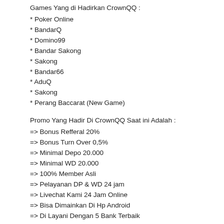Games Yang di Hadirkan CrownQQ :
* Poker Online
* BandarQ
* Domino99
* Bandar Sakong
* Sakong
* Bandar66
* AduQ
* Sakong
* Perang Baccarat (New Game)
Promo Yang Hadir Di CrownQQ Saat ini Adalah :
=> Bonus Refferal 20%
=> Bonus Turn Over 0,5%
=> Minimal Depo 20.000
=> Minimal WD 20.000
=> 100% Member Asli
=> Pelayanan DP & WD 24 jam
=> Livechat Kami 24 Jam Online
=> Bisa Dimainkan Di Hp Android
=> Di Layani Dengan 5 Bank Terbaik
<< Contact us >>